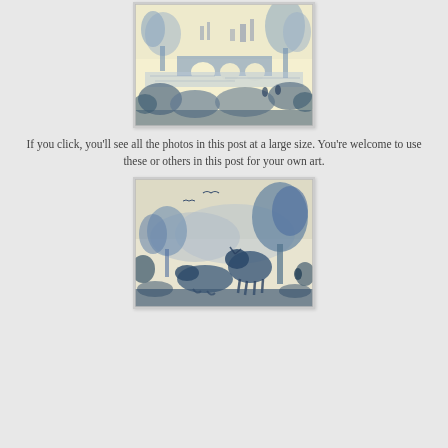[Figure (illustration): Blue and white Delft-style ceramic tile illustration showing a landscape with ruins, arches, trees, a river, and figures in the foreground.]
If you click, you'll see all the photos in this post at a large size. You're welcome to use these or others in this post for your own art.
[Figure (illustration): Blue and white Delft-style ceramic tile illustration showing a pastoral landscape with cows resting under trees, birds in flight, and rolling hills in the background.]